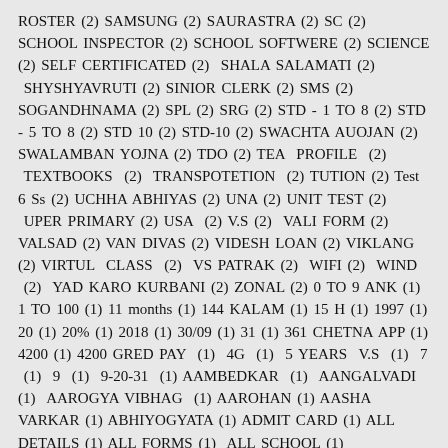ROSTER (2) SAMSUNG (2) SAURASTRA (2) SC (2) SCHOOL INSPECTOR (2) SCHOOL SOFTWERE (2) SCIENCE (2) SELF CERTIFICATED (2) SHALA SALAMATI (2) SHYSHYAVRUTI (2) SINIOR CLERK (2) SMS (2) SOGANDHNAMA (2) SPL (2) SRG (2) STD - 1 TO 8 (2) STD - 5 TO 8 (2) STD 10 (2) STD-10 (2) SWACHTA AUOJAN (2) SWALAMBAN YOJNA (2) TDO (2) TEA PROFILE (2) TEXTBOOKS (2) TRANSPOTETION (2) TUTION (2) Test 6 Ss (2) UCHHA ABHIYAS (2) UNA (2) UNIT TEST (2) UPER PRIMARY (2) USA (2) V.S (2) VALI FORM (2) VALSAD (2) VAN DIVAS (2) VIDESH LOAN (2) VIKLANG (2) VIRTUL CLASS (2) VS PATRAK (2) WIFI (2) WIND (2) YAD KARO KURBANI (2) ZONAL (2) 0 TO 9 ANK (1) 1 TO 100 (1) 11 months (1) 144 KALAM (1) 15 H (1) 1997 (1) 20 (1) 20% (1) 2018 (1) 30/09 (1) 31 (1) 361 CHETNA APP (1) 4200 (1) 4200 GRED PAY (1) 4G (1) 5 YEARS V.S (1) 7 (1) 9 (1) 9-20-31 (1) AAMBEDKAR (1) AANGALVADI (1) AAROGYA VIBHAG (1) AAROHAN (1) AASHA VARKAR (1) ABHIYOGYATA (1) ADMIT CARD (1) ALL DETAILS (1) ALL FORMS (1) ALL SCHOOL (1) ALLOWANCE (1) ALOVIRA (1) ANM (1) ARJI (1) ATM (1) B.Sc (1) BAPS (1) BHARTI NIYAM (1) BHARTIYA BANDHARAN (1) BHASHADIP (1) BHILODA (1) BIN HATHIYARI (1) BLOG AWARD (1) BLOOD GROUP (1) BOARD (1) BOND (1) BPL (1) BRC (1) BRP (1) C.L (1) C.H.S PLAN (1) CALENDER (1) CAREER